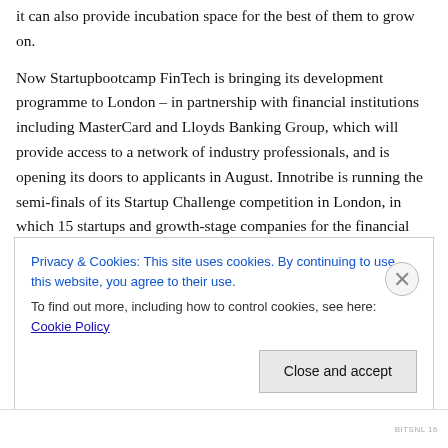it can also provide incubation space for the best of them to grow on.
Now Startupbootcamp FinTech is bringing its development programme to London – in partnership with financial institutions including MasterCard and Lloyds Banking Group, which will provide access to a network of industry professionals, and is opening its doors to applicants in August. Innotribe is running the semi-finals of its Startup Challenge competition in London, in which 15 startups and growth-stage companies for the financial industry will pitch for a place in its Finale in Boston later in the year. And
Privacy & Cookies: This site uses cookies. By continuing to use this website, you agree to their use.
To find out more, including how to control cookies, see here: Cookie Policy